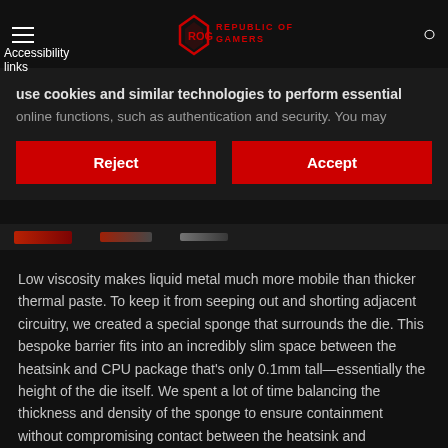ROG Republic of Gamers — Navigation bar with hamburger menu and search icon
Accessibility links
use cookies and similar technologies to perform essential online functions, such as authentication and security. You may
Reject
Accept
[Figure (photo): Thin product image strip showing red ROG hardware components]
Low viscosity makes liquid metal much more mobile than thicker thermal paste. To keep it from seeping out and shorting adjacent circuitry, we created a special sponge that surrounds the die. This bespoke barrier fits into an incredibly slim space between the heatsink and CPU package that's only 0.1mm tall—essentially the height of the die itself. We spent a lot of time balancing the thickness and density of the sponge to ensure containment without compromising contact between the heatsink and processor.